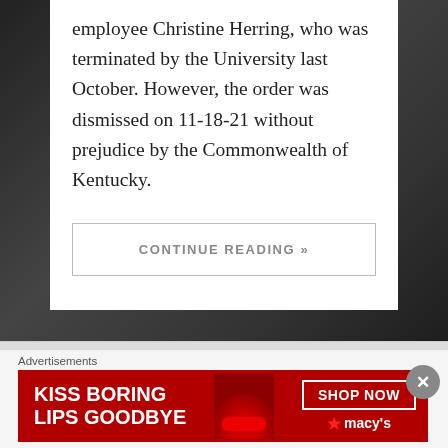employee Christine Herring, who was terminated by the University last October. However, the order was dismissed on 11-18-21 without prejudice by the Commonwealth of Kentucky.
CONTINUE READING »
[Figure (photo): Dark background photo behind the white content card]
Advertisements
[Figure (photo): Macy's advertisement banner: KISS BORING LIPS GOODBYE with SHOP NOW button and Macy's star logo on red background]